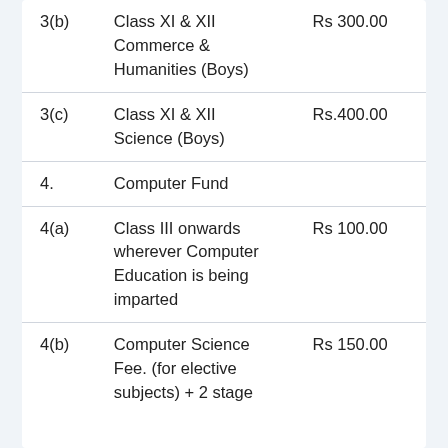| No. | Description | Amount |
| --- | --- | --- |
| 3(b) | Class XI & XII Commerce & Humanities (Boys) | Rs 300.00 |
| 3(c) | Class XI & XII Science (Boys) | Rs.400.00 |
| 4. | Computer Fund |  |
| 4(a) | Class III onwards wherever Computer Education is being imparted | Rs 100.00 |
| 4(b) | Computer Science Fee. (for elective subjects) + 2 stage | Rs 150.00 |